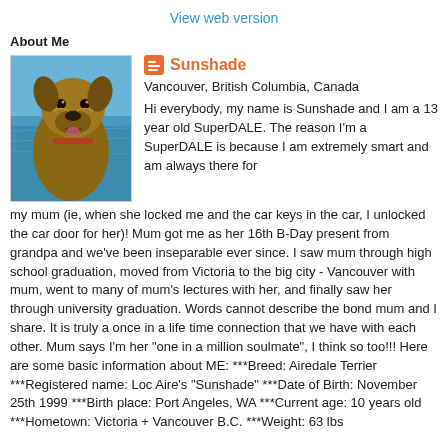View web version
About Me
[Figure (photo): Photo of an Airedale Terrier dog (Sunshade) with water in the background]
Sunshade
Vancouver, British Columbia, Canada
Hi everybody, my name is Sunshade and I am a 13 year old SuperDALE. The reason I'm a SuperDALE is because I am extremely smart and am always there for my mum (ie, when she locked me and the car keys in the car, I unlocked the car door for her)! Mum got me as her 16th B-Day present from grandpa and we've been inseparable ever since. I saw mum through high school graduation, moved from Victoria to the big city - Vancouver with mum, went to many of mum's lectures with her, and finally saw her through university graduation. Words cannot describe the bond mum and I share. It is truly a once in a life time connection that we have with each other. Mum says I'm her "one in a million soulmate", I think so too!!! Here are some basic information about ME: ***Breed: Airedale Terrier ***Registered name: Loc Aire's "Sunshade" ***Date of Birth: November 25th 1999 ***Birth place: Port Angeles, WA ***Current age: 10 years old ***Hometown: Victoria + Vancouver B.C. ***Weight: 63 lbs